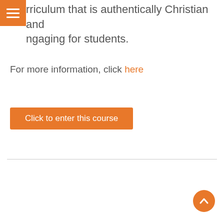rriculum that is authentically Christian and ngaging for students.
For more information, click here
Click to enter this course